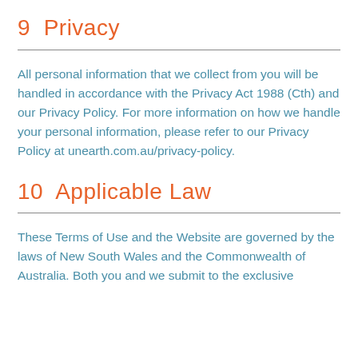9  Privacy
All personal information that we collect from you will be handled in accordance with the Privacy Act 1988 (Cth) and our Privacy Policy. For more information on how we handle your personal information, please refer to our Privacy Policy at unearth.com.au/privacy-policy.
10  Applicable Law
These Terms of Use and the Website are governed by the laws of New South Wales and the Commonwealth of Australia. Both you and we submit to the exclusive